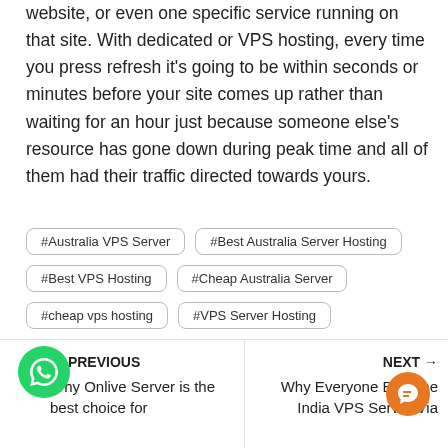website, or even one specific service running on that site. With dedicated or VPS hosting, every time you press refresh it's going to be within seconds or minutes before your site comes up rather than waiting for an hour just because someone else's resource has gone down during peak time and all of them had their traffic directed towards yours.
#Australia VPS Server
#Best Australia Server Hosting
#Best VPS Hosting
#Cheap Australia Server
#cheap vps hosting
#VPS Server Hosting
PREVIOUS — Why Onlive Server is the best choice for
NEXT → Why Everyone Buy The India VPS Server Via